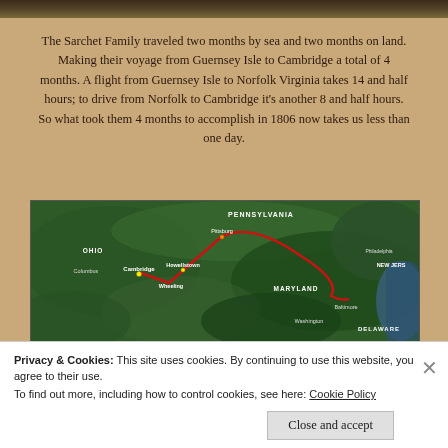[Figure (photo): Partial top strip showing a dark landscape/historical image at the very top of the page]
The Sarchet Family traveled two months by sea and two months on land. Making their voyage from Guernsey Isle to Cambridge a total of 4 months. A flight from Guernsey Isle to Norfolk Virginia takes 14 and half hours; to drive from Norfolk to Cambridge it's another 8 and half hours. So what took them 4 months to accomplish in 1806 now takes us less than one day.
[Figure (map): Satellite map showing route from Cambridge/Wheeling through Pittsburgh down to Baltimore/Washington DC area, with a red route line. Labels visible: PENNSYLVANIA, OHIO, Columbus, Cambridge, Howellstown, Wheeling, Pittsburgh, MARYLAND, Baltimore, Washington, DELAWARE, Philadelphia, NEW JERSEY]
Privacy & Cookies: This site uses cookies. By continuing to use this website, you agree to their use.
To find out more, including how to control cookies, see here: Cookie Policy